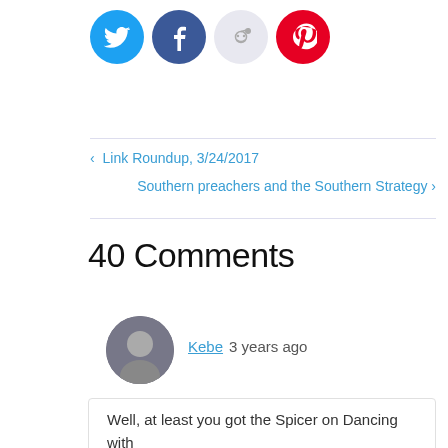[Figure (other): Social sharing buttons: Twitter (blue), Facebook (dark blue), Reddit (light gray), Pinterest (red)]
< Link Roundup, 3/24/2017
Southern preachers and the Southern Strategy >
40 Comments
Kebe  3 years ago
Well, at least you got the Spicer on Dancing with